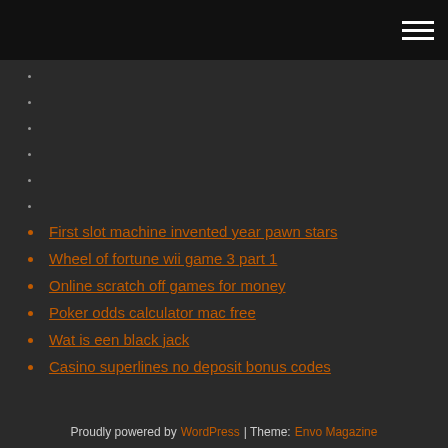[navigation bar with hamburger menu]
First slot machine invented year pawn stars
Wheel of fortune wii game 3 part 1
Online scratch off games for money
Poker odds calculator mac free
Wat is een black jack
Casino superlines no deposit bonus codes
Proudly powered by WordPress | Theme: Envo Magazine